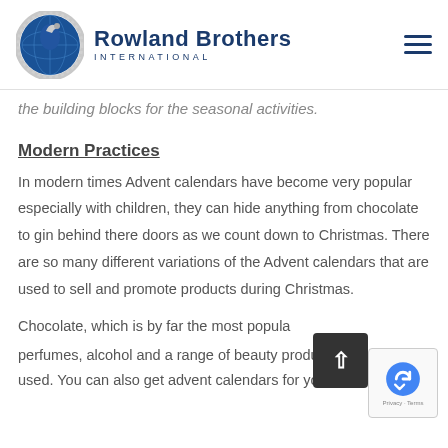Rowland Brothers INTERNATIONAL
the building blocks for the seasonal activities.
Modern Practices
In modern times Advent calendars have become very popular especially with children, they can hide anything from chocolate to gin behind there doors as we count down to Christmas. There are so many different variations of the Advent calendars that are used to sell and promote products during Christmas.
Chocolate, which is by far the most popular, as well as perfumes, alcohol and a range of beauty products are also used. You can also get advent calendars for your pets